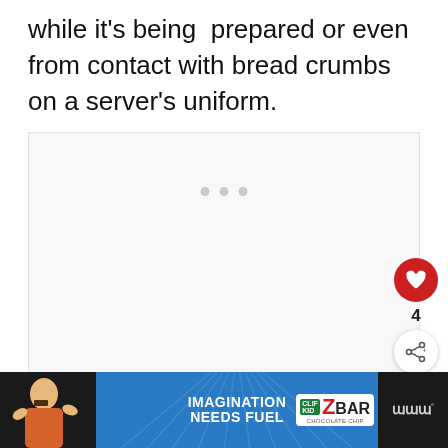while it's being prepared or even from contact with bread crumbs on a server's uniform.
[Figure (screenshot): White advertisement placeholder area with three small grey dots centered near the top, indicating a loading or empty ad slot]
[Figure (infographic): Red circular like/heart button, number 4, and a share button (white circle with share icon) stacked vertically on the right side]
[Figure (screenshot): What's Next panel showing a thumbnail of Moroccan Kefta dyal... recipe with text WHAT'S NEXT in red]
[Figure (infographic): Bottom advertisement banner: child eating a Clif bar on dark background, blue panel with IMAGINATION NEEDS FUEL and ZBAR branding, and weather widget on right]